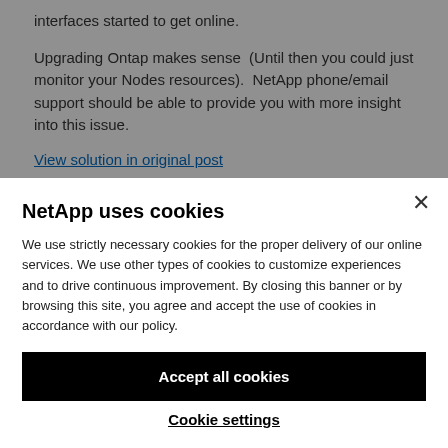interfaces started to get online.
Upgrading Ontap makes sense  (Until then you could just monitor your Nodes resources).  NetApp phone/email support should be able to provide you with more insight into this issue.
View solution in original post
NetApp uses cookies
We use strictly necessary cookies for the proper delivery of our online services. We use other types of cookies to customize experiences and to drive continuous improvement. By closing this banner or by browsing this site, you agree and accept the use of cookies in accordance with our policy.
Accept all cookies
Cookie settings